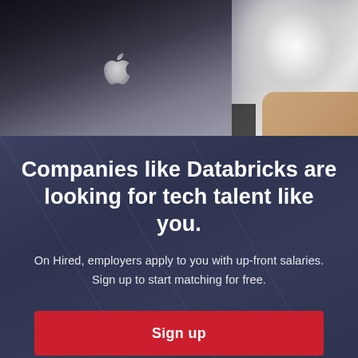[Figure (photo): Photo showing a MacBook laptop with glowing Apple logo on the left, and a person holding a fluffy white dog on the right, against a dark background.]
Companies like Databricks are looking for tech talent like you.
On Hired, employers apply to you with up-front salaries.
Sign up to start matching for free.
Sign up